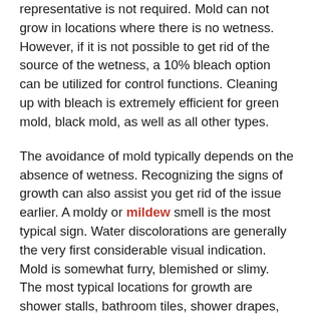representative is not required. Mold can not grow in locations where there is no wetness. However, if it is not possible to get rid of the source of the wetness, a 10% bleach option can be utilized for control functions. Cleaning up with bleach is extremely efficient for green mold, black mold, as well as all other types.
The avoidance of mold typically depends on the absence of wetness. Recognizing the signs of growth can also assist you get rid of the issue earlier. A moldy or mildew smell is the most typical sign. Water discolorations are generally the very first considerable visual indication. Mold is somewhat furry, blemished or slimy. The most typical locations for growth are shower stalls, bathroom tiles, shower drapes, refrigerator doors, window moldings, and ac system; nevertheless, walls, carpets, and cabinets are not exempt.